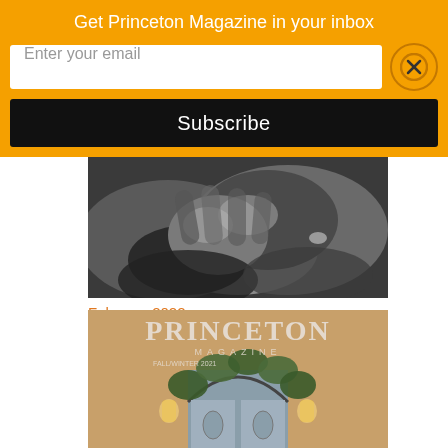Get Princeton Magazine in your inbox
Enter your email
Subscribe
[Figure (photo): Black and white close-up photo of two hands clasped together, with a ring visible]
February 2022
[Figure (photo): Princeton Magazine Fall/Winter 2021 cover showing an ornate arched doorway with greenery and wall lanterns]